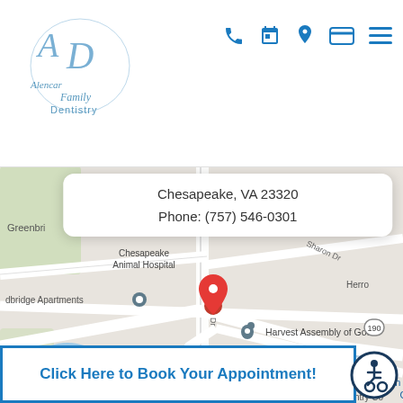[Figure (logo): Alencar Family Dentistry logo - cursive text with stylized letters]
[Figure (infographic): Navigation icons: phone, calendar, location pin, credit card, hamburger menu - all in blue]
[Figure (map): Google Maps view showing location in Chesapeake VA area with red pin marker, showing nearby landmarks: Chesapeake Animal Hospital, Greenbridge, Wyngate Dr, Harvest Assembly of God, The Egg Bistro, Exxon, Glo Auto Parts, Carters Country, dbridge Apartments, Sharon Dr, Locomotive Ln]
Chesapeake, VA 23320
Phone: (757) 546-0301
Click Here to Book Your Appointment!